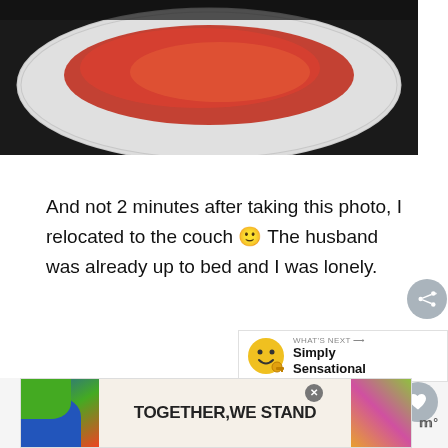[Figure (photo): Close-up photo of food (reddish dish) on a white plate against a dark background, cropped at top]
And not 2 minutes after taking this photo, I relocated to the couch 🙂 The husband was already up to bed and I was lonely.
[Figure (other): Three grey dots loading indicator, with heart (like) button and share button on the right side]
[Figure (other): What's Next panel showing a smiley face emoji icon and the text 'Simply Sensational']
[Figure (other): Advertisement banner reading TOGETHER, WE STAND with colorful abstract artwork on both sides, close button, and logo]